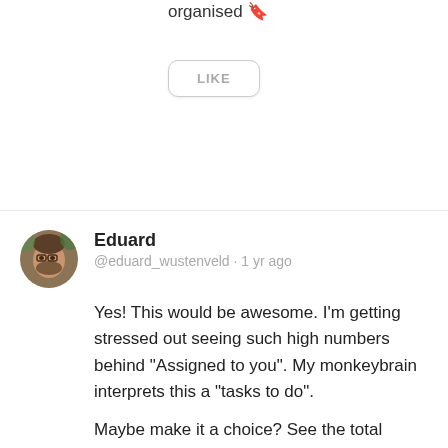organised 🔖
LIKE
Eduard
@eduard_wustenveld · 1 yr ago
Yes! This would be awesome. I'm getting stressed out seeing such high numbers behind "Assigned to you". My monkeybrain interprets this a "tasks to do".

Maybe make it a choice? See the total amount, see the unanswered amounts or see both (like 2/81 … two unanswered and 81 messages).